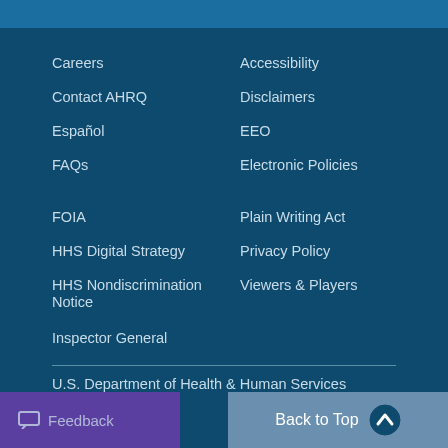Careers
Accessibility
Contact AHRQ
Disclaimers
Español
EEO
FAQs
Electronic Policies
FOIA
Plain Writing Act
HHS Digital Strategy
Privacy Policy
HHS Nondiscrimination Notice
Viewers & Players
Inspector General
U.S. Department of Health & Human Services
The White House
USA.gov
Feedback
Back to Top